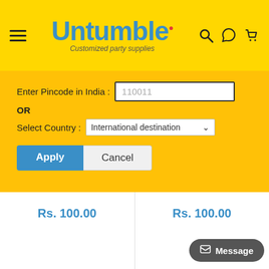[Figure (screenshot): Untumble website header with hamburger menu, logo, and icons for search, WhatsApp, and cart on yellow background]
Enter Pincode in India : 110011
OR
Select Country : International destination
Apply
Cancel
Rs. 100.00
Rs. 100.00
Message